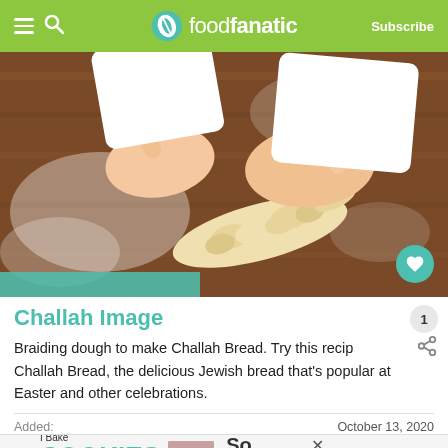foodfanatic — Subscribe
[Figure (photo): Hands braiding challah dough on a flour-dusted wooden surface]
Challah Image
Braiding dough to make Challah Bread. Try this recip Challah Bread, the delicious Jewish bread that's popular at Easter and other celebrations.
Added:   October 13, 2020
[Figure (photo): I Bake COOKIES For A CURE advertisement banner — Haldora, 11 Cancer Survivor — So can you! — cookies for kids cancer logo]